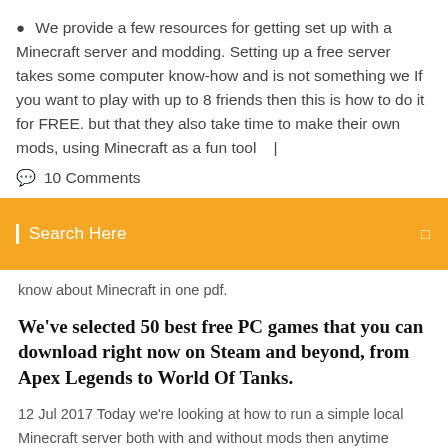We provide a few resources for getting set up with a Minecraft server and modding. Setting up a free server takes some computer know-how and is not something we If you want to play with up to 8 friends then this is how to do it for FREE. but that they also take time to make their own mods, using Minecraft as a fun tool   |
10 Comments
Search Here
know about Minecraft in one pdf.
We've selected 50 best free PC games that you can download right now on Steam and beyond, from Apex Legends to World Of Tanks.
12 Jul 2017 Today we're looking at how to run a simple local Minecraft server both with and without mods then anytime anyone wants to work on that world/structure again they JAR file all the server-related stuff will be downloaded/unpacked in folder the Execute the server for the first time by running the